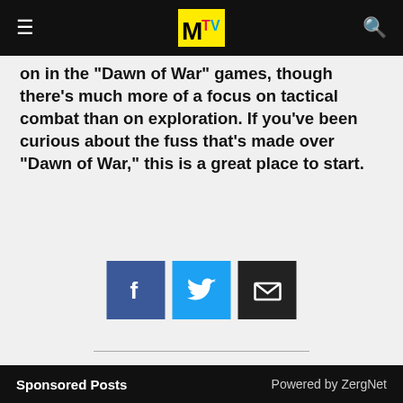MTV
on in the "Dawn of War" games, though there's much more of a focus on tactical combat than on exploration. If you've been curious about the fuss that's made over "Dawn of War," this is a great place to start.
[Figure (other): Social share buttons: Facebook (blue), Twitter (cyan), Email (dark/black)]
Sponsored Posts   Powered by ZergNet